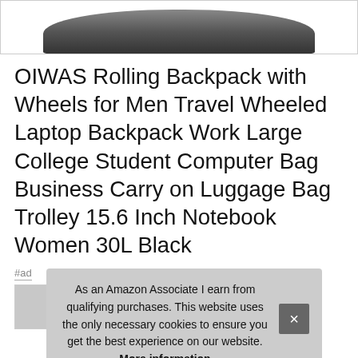[Figure (photo): Partial product image of a black rolling backpack, cropped at top]
OIWAS Rolling Backpack with Wheels for Men Travel Wheeled Laptop Backpack Work Large College Student Computer Bag Business Carry on Luggage Bag Trolley 15.6 Inch Notebook Women 30L Black
#ad
[Figure (photo): Thumbnail row of product images partially visible at bottom]
As an Amazon Associate I earn from qualifying purchases. This website uses the only necessary cookies to ensure you get the best experience on our website. More information